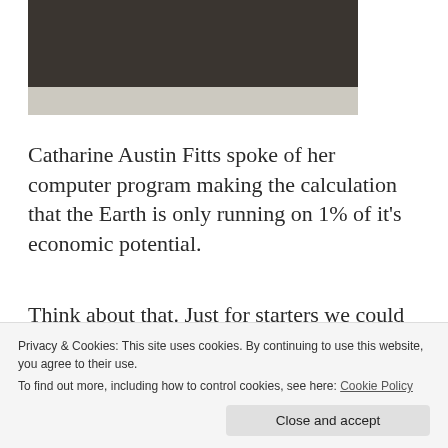[Figure (photo): Partial photo showing a dark-colored object on a light concrete/tile surface, cropped at top.]
Catharine Austin Fitts spoke of her computer program making the calculation that the Earth is only running on 1% of it’s economic potential.
Think about that. Just for starters we could heal the environment and end poverty. Not to mention the boost to our quality of life, health care and education. Perhaps if people really
Privacy & Cookies: This site uses cookies. By continuing to use this website, you agree to their use.
To find out more, including how to control cookies, see here: Cookie Policy
Close and accept